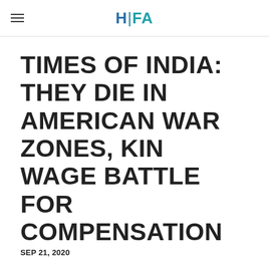HFA
TIMES OF INDIA: THEY DIE IN AMERICAN WAR ZONES, KIN WAGE BATTLE FOR COMPENSATION
SEP 21, 2020